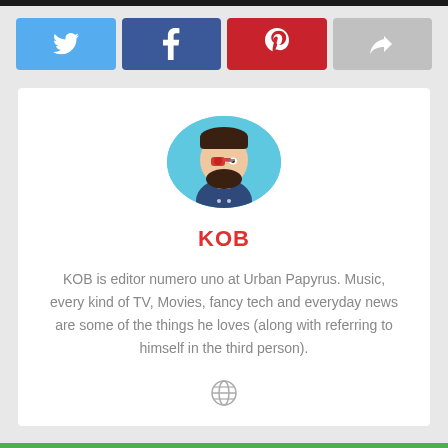[Figure (illustration): Social share buttons row: Twitter (blue bird icon), Facebook (blue f icon), Pinterest (red P icon), generic share (grey arrow icon)]
[Figure (illustration): Author avatar: cartoon illustration of a bearded man with VR/tech glasses on light blue circular background]
KOB
KOB is editor numero uno at Urban Papyrus. Music, every kind of TV, Movies, fancy tech and everyday news are some of the things he loves (along with referring to himself in the third person).
[Figure (illustration): Small globe/web icon in grey]